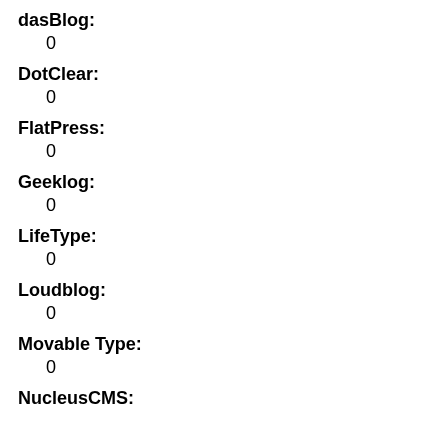dasBlog:
0
DotClear:
0
FlatPress:
0
Geeklog:
0
LifeType:
0
Loudblog:
0
Movable Type:
0
NucleusCMS: